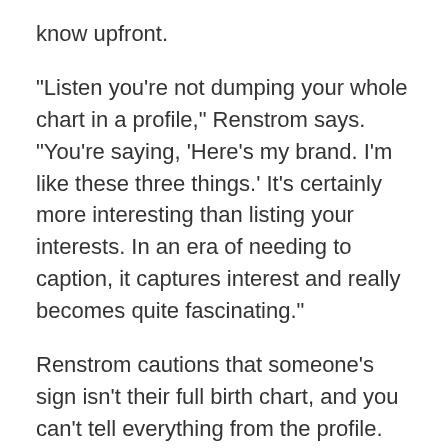know upfront.
“Listen you’re not dumping your whole chart in a profile,” Renstrom says. “You’re saying, ‘Here’s my brand. I’m like these three things.’ It’s certainly more interesting than listing your interests. In an era of needing to caption, it captures interest and really becomes quite fascinating.”
Renstrom cautions that someone’s sign isn’t their full birth chart, and you can’t tell everything from the profile. Though people who are willing to post their zodiac sign in their profile sometimes, incidentally, reveal additional information about themselves.
“If you’re into astrology chances are you’re into other